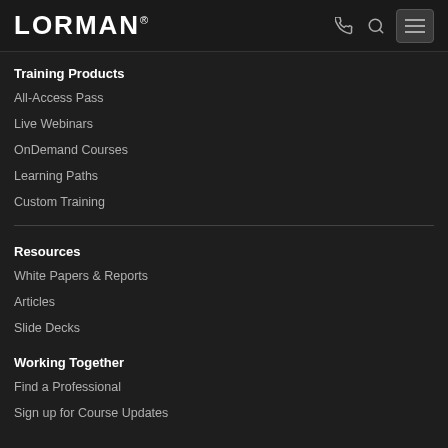LORMAN
Training Products
All-Access Pass
Live Webinars
OnDemand Courses
Learning Paths
Custom Training
Resources
White Papers & Reports
Articles
Slide Decks
Working Together
Find a Professional
Sign up for Course Updates